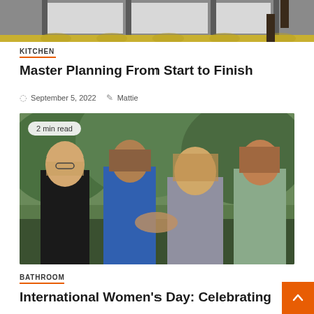[Figure (photo): Top portion of a kitchen photo showing cabinets, a yellow geometric rug, and a chair — cropped at the top of the page]
KITCHEN
Master Planning From Start to Finish
September 5, 2022  Mattie
[Figure (photo): Four women standing together outdoors in a garden. One wears black, one blue, one grey, one sage green. Badge reads '2 min read'.]
2 min read
BATHROOM
International Women's Day: Celebrating